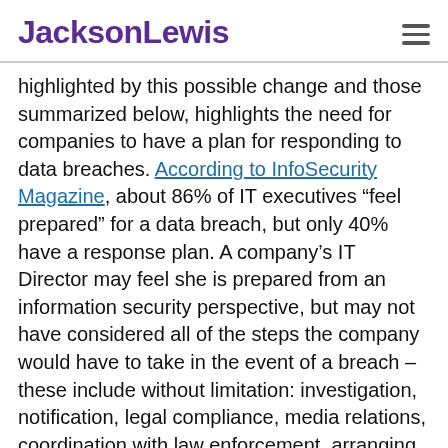JacksonLewis
highlighted by this possible change and those summarized below, highlights the need for companies to have a plan for responding to data breaches. According to InfoSecurity Magazine, about 86% of IT executives “feel prepared” for a data breach, but only 40% have a response plan. A company’s IT Director may feel she is prepared from an information security perspective, but may not have considered all of the steps the company would have to take in the event of a breach – these include without limitation: investigation, notification, legal compliance, media relations, coordination with law enforcement, arranging for identity theft protection services, setting up a call center, etc.